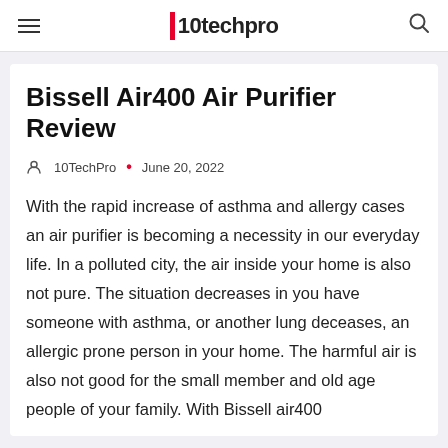10techpro
Bissell Air400 Air Purifier Review
10TechPro • June 20, 2022
With the rapid increase of asthma and allergy cases an air purifier is becoming a necessity in our everyday life. In a polluted city, the air inside your home is also not pure. The situation decreases in you have someone with asthma, or another lung deceases, an allergic prone person in your home. The harmful air is also not good for the small member and old age people of your family. With Bissell air400